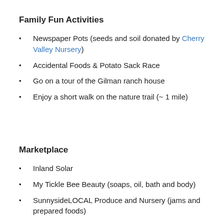Family Fun Activities
Newspaper Pots (seeds and soil donated by Cherry Valley Nursery)
Accidental Foods & Potato Sack Race
Go on a tour of the Gilman ranch house
Enjoy a short walk on the nature trail (~ 1 mile)
Marketplace
Inland Solar
My Tickle Bee Beauty (soaps, oil, bath and body)
SunnysideLOCAL Produce and Nursery (jams and prepared foods)
Sew Hot Mommies (crocheted, sewn, and hand-crafted